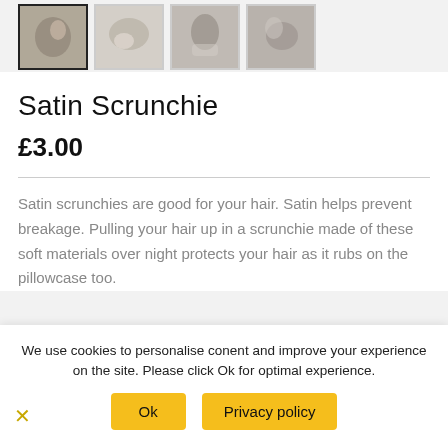[Figure (photo): Four product thumbnail images of satin scrunchies, the first one is selected/active with a dark border.]
Satin Scrunchie
£3.00
Satin scrunchies are good for your hair. Satin helps prevent breakage. Pulling your hair up in a scrunchie made of these soft materials over night protects your hair as it rubs on the pillowcase too.
We use cookies to personalise conent and improve your experience on the site. Please click Ok for optimal experience.